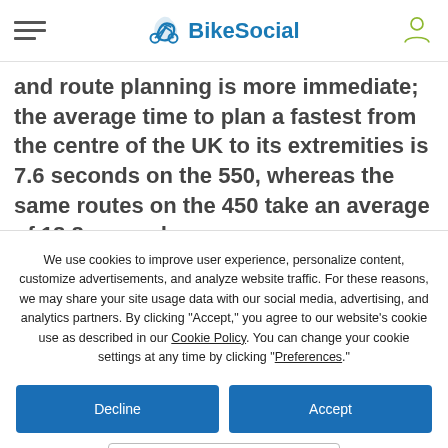BikeSocial
and route planning is more immediate; the average time to plan a fastest from the centre of the UK to its extremities is 7.6 seconds on the 550, whereas the same routes on the 450 take an average of 18.8 seconds.
We use cookies to improve user experience, personalize content, customize advertisements, and analyze website traffic. For these reasons, we may share your site usage data with our social media, advertising, and analytics partners. By clicking "Accept," you agree to our website's cookie use as described in our Cookie Policy. You can change your cookie settings at any time by clicking “Preferences.”
Decline
Accept
Preferences